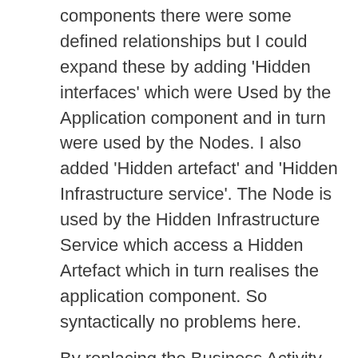components there were some defined relationships but I could expand these by adding 'Hidden interfaces' which were Used by the Application component and in turn were used by the Nodes. I also added 'Hidden artefact' and 'Hidden Infrastructure service'. The Node is used by the Hidden Infrastructure Service which access a Hidden Artefact which in turn realises the application component. So syntactically no problems here.
By replacing the Business Activity with a Business Process I can use direct assignment connections between Application components and roles. The Software Development Service can also be used by the Business Process. Again no problems with the